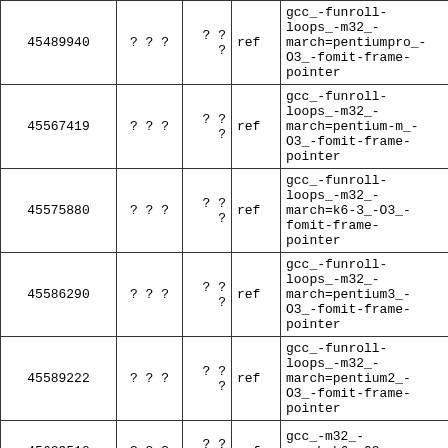| 45489940 | ? ? ? | ? ?
? | ref | gcc_-funroll-loops_-m32_-march=pentiumpro_-O3_-fomit-frame-pointer | 2(truncated) |
| 45567419 | ? ? ? | ? ?
? | ref | gcc_-funroll-loops_-m32_-march=pentium-m_-O3_-fomit-frame-pointer | 2(truncated) |
| 45575880 | ? ? ? | ? ?
? | ref | gcc_-funroll-loops_-m32_-march=k6-3_-O3_-fomit-frame-pointer | 2(truncated) |
| 45586290 | ? ? ? | ? ?
? | ref | gcc_-funroll-loops_-m32_-march=pentium3_-O3_-fomit-frame-pointer | 2(truncated) |
| 45589222 | ? ? ? | ? ?
? | ref | gcc_-funroll-loops_-m32_-march=pentium2_-O3_-fomit-frame-pointer | 2(truncated) |
| 45629510 | ? ? ? | ? ?
? | ref | gcc_-m32_-march=k6_-O3_-fomit-frame-pointer | 2(truncated) |